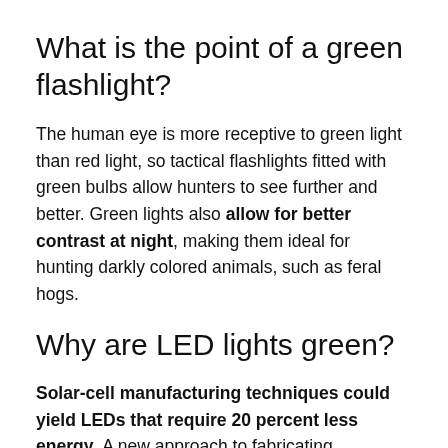What is the point of a green flashlight?
The human eye is more receptive to green light than red light, so tactical flashlights fitted with green bulbs allow hunters to see further and better. Green lights also allow for better contrast at night, making them ideal for hunting darkly colored animals, such as feral hogs.
Why are LED lights green?
Solar-cell manufacturing techniques could yield LEDs that require 20 percent less energy. A new approach to fabricating